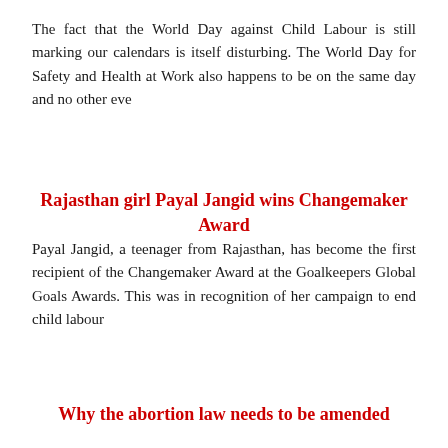The fact that the World Day against Child Labour is still marking our calendars is itself disturbing. The World Day for Safety and Health at Work also happens to be on the same day and no other eve
Rajasthan girl Payal Jangid wins Changemaker Award
Payal Jangid, a teenager from Rajasthan, has become the first recipient of the Changemaker Award at the Goalkeepers Global Goals Awards. This was in recognition of her campaign to end child labour
Why the abortion law needs to be amended